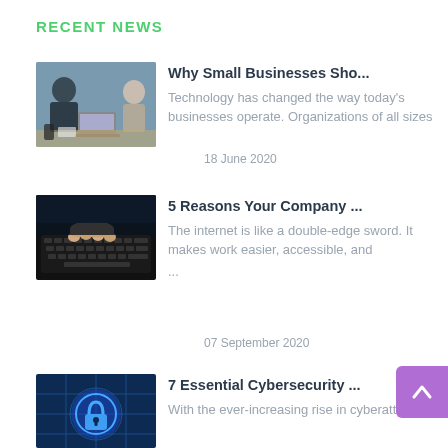RECENT NEWS
[Figure (photo): Business meeting with people around a desk with laptops and phones]
Why Small Businesses Sho...
Technology has changed the way today's businesses operate. Organizations of all sizes
18 June 2020
[Figure (photo): Hands typing on a laptop keyboard in dark setting]
5 Reasons Your Company ...
The internet is like a double-edge sword. It makes work easier, accessible, and
...
07 September 2020
[Figure (photo): Cybersecurity concept with padlock icon on circuit board background]
7 Essential Cybersecurity ...
With the ever-increasing rise in cyberattacks